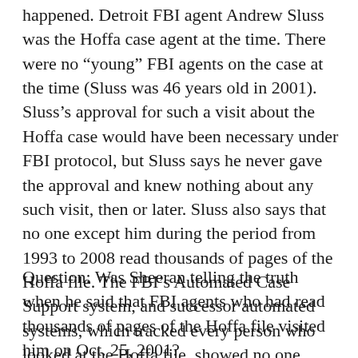happened. Detroit FBI agent Andrew Sluss was the Hoffa case agent at the time. There were no “young” FBI agents on the case at the time (Sluss was 46 years old in 2001). Sluss’s approval for such a visit about the Hoffa case would have been necessary under FBI protocol, but Sluss says he never gave the approval and knew nothing about any such visit, then or later. Sluss also says that no one except him during the period from 1993 to 2008 read thousands of pages of the Hoffa file. The FBI’s Automated Case Support system, and successor automated systems, which tracked every person who looked at the Hoffa file, showed no one except Sluss who examined more than a few Hoffa serials (documents) during this period.
Question: Was Sheeran telling the truth when he said that FBI agents who had read thousands of pages of the Hoffa file visited him on Oct. 25, 2001?